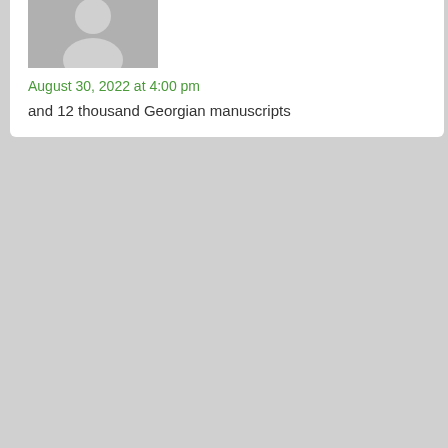[Figure (photo): Gray placeholder avatar icon for first commenter (partial, cropped at top)]
August 30, 2022 at 4:00 pm
and 12 thousand Georgian manuscripts
[Figure (photo): Gray placeholder avatar icon for Carpetrfc]
Carpetrfc
August 30, 2022 at 4:52 pm
Testaru. Best known
[Figure (photo): Gray placeholder avatar icon for Mojaveamu (partial, cropped at bottom)]
Mojaveamu